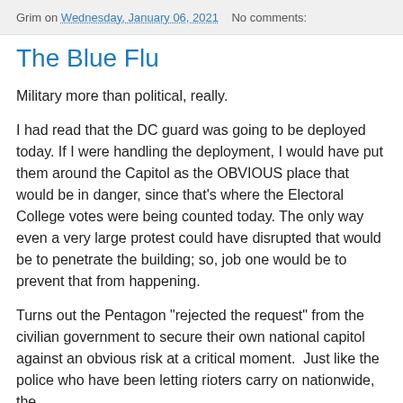Grim on Wednesday, January 06, 2021  No comments:
The Blue Flu
Military more than political, really.
I had read that the DC guard was going to be deployed today. If I were handling the deployment, I would have put them around the Capitol as the OBVIOUS place that would be in danger, since that's where the Electoral College votes were being counted today. The only way even a very large protest could have disrupted that would be to penetrate the building; so, job one would be to prevent that from happening.
Turns out the Pentagon "rejected the request" from the civilian government to secure their own national capitol against an obvious risk at a critical moment.  Just like the police who have been letting rioters carry on nationwide, the military decideit didn't protect the place of business...